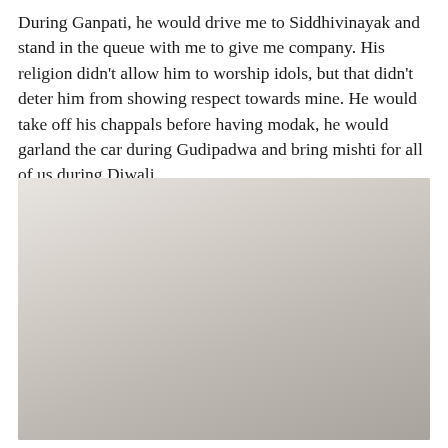During Ganpati, he would drive me to Siddhivinayak and stand in the queue with me to give me company. His religion didn't allow him to worship idols, but that didn't deter him from showing respect towards mine. He would take off his chappals before having modak, he would garland the car during Gudipadwa and bring mishti for all of us during Diwali.
[Figure (photo): Group photo of approximately 14 people, men and women, posing together indoors. A watermark reading '@diajdesa @vikkymanjari' is visible in the center of the image.]